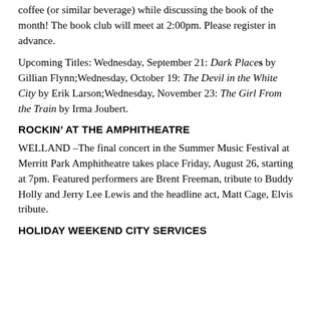coffee (or similar beverage) while discussing the book of the month! The book club will meet at 2:00pm. Please register in advance.
Upcoming Titles: Wednesday, September 21: Dark Places by Gillian Flynn;Wednesday, October 19: The Devil in the White City by Erik Larson;Wednesday, November 23: The Girl From the Train by Irma Joubert.
ROCKIN’ AT THE AMPHITHEATRE
WELLAND –The final concert in the Summer Music Festival at Merritt Park Amphitheatre takes place Friday, August 26, starting at 7pm. Featured performers are Brent Freeman, tribute to Buddy Holly and Jerry Lee Lewis and the headline act, Matt Cage, Elvis tribute.
HOLIDAY WEEKEND CITY SERVICES